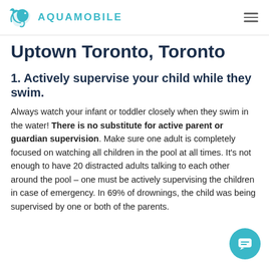AQUAMOBILE
Uptown Toronto, Toronto
1. Actively supervise your child while they swim.
Always watch your infant or toddler closely when they swim in the water! There is no substitute for active parent or guardian supervision. Make sure one adult is completely focused on watching all children in the pool at all times. It's not enough to have 20 distracted adults talking to each other around the pool – one must be actively supervising the children in case of emergency. In 69% of drownings, the child was being supervised by one or both of the parents.